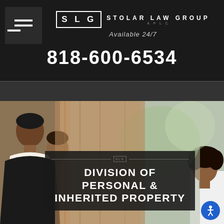SLG STOLAR LAW GROUP APLC
Available 24/7
818-600-6534
[Figure (photo): Background photo showing two people, one in a dark suit and another person, outdoors with blurred background]
DIVISION OF PERSONAL & INHERITED PROPERTY